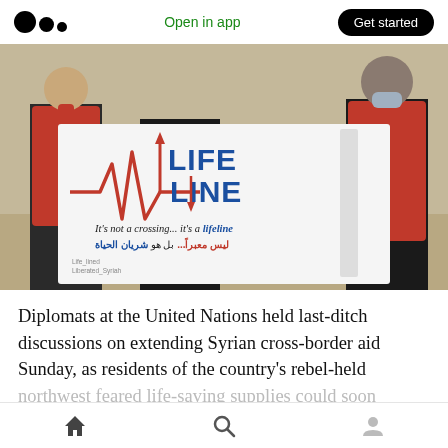Open in app  Get started
[Figure (photo): Two people wearing red humanitarian vests holding a white banner that reads 'LIFELINE - It's not a crossing... it's a lifeline' with Arabic text below, along with a heartbeat/EKG graphic. Text in bottom left corner reads 'Life_lined Liberated_Syriah'.]
Diplomats at the United Nations held last-ditch discussions on extending Syrian cross-border aid Sunday, as residents of the country's rebel-held northwest feared life-saving supplies could soon
Home  Search  Profile